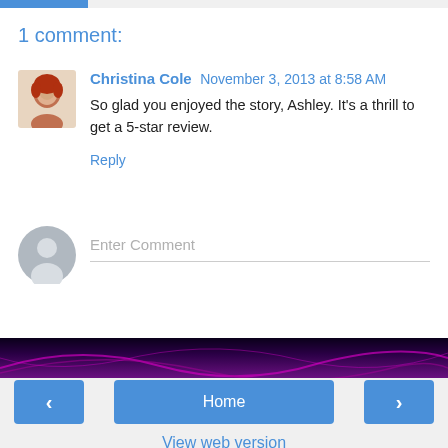1 comment:
Christina Cole  November 3, 2013 at 8:58 AM
So glad you enjoyed the story, Ashley. It's a thrill to get a 5-star review.
Reply
Enter Comment
Home
View web version
Powered by Blogger.